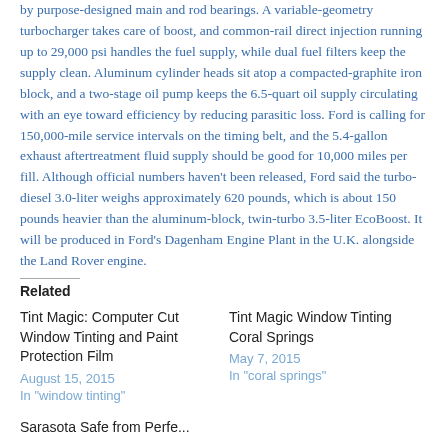by purpose-designed main and rod bearings. A variable-geometry turbocharger takes care of boost, and common-rail direct injection running up to 29,000 psi handles the fuel supply, while dual fuel filters keep the supply clean. Aluminum cylinder heads sit atop a compacted-graphite iron block, and a two-stage oil pump keeps the 6.5-quart oil supply circulating with an eye toward efficiency by reducing parasitic loss. Ford is calling for 150,000-mile service intervals on the timing belt, and the 5.4-gallon exhaust aftertreatment fluid supply should be good for 10,000 miles per fill. Although official numbers haven't been released, Ford said the turbo-diesel 3.0-liter weighs approximately 620 pounds, which is about 150 pounds heavier than the aluminum-block, twin-turbo 3.5-liter EcoBoost. It will be produced in Ford's Dagenham Engine Plant in the U.K. alongside the Land Rover engine.
Related
Tint Magic: Computer Cut Window Tinting and Paint Protection Film
August 15, 2015
In "window tinting"
Tint Magic Window Tinting Coral Springs
May 7, 2015
In "coral springs"
Sarasota Safe from Perfect...